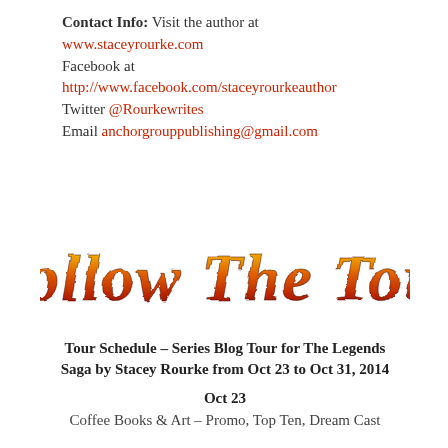Contact Info: Visit the author at www.staceyrourke.com Facebook at http://www.facebook.com/staceyrourkeauthor Twitter @Rourkewrites Email anchorgrouppublishing@gmail.com
[Figure (illustration): Decorative flame-styled text reading 'Follow The Tour' with fire/burning texture effect on the letters]
Tour Schedule – Series Blog Tour for The Legends Saga by Stacey Rourke from Oct 23 to Oct 31, 2014
Oct 23
Coffee Books & Art – Promo, Top Ten, Dream Cast